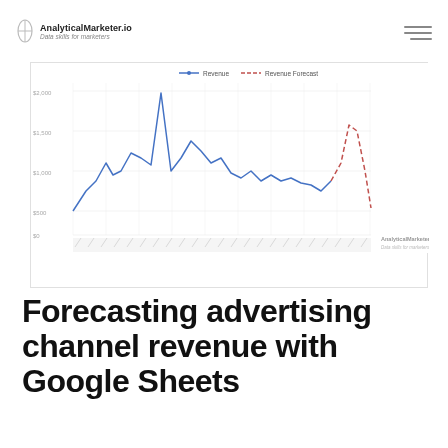AnalyticalMarketer.io — Data skills for marketers
[Figure (line-chart): Line chart showing Revenue (blue solid line) and Revenue Forecast (red dashed line) over time. Revenue shows a spike to ~$2,000 and fluctuates around $1,000-$1,500. Forecast shows a peak around $1,700 then declines to ~$600.]
Forecasting advertising channel revenue with Google Sheets